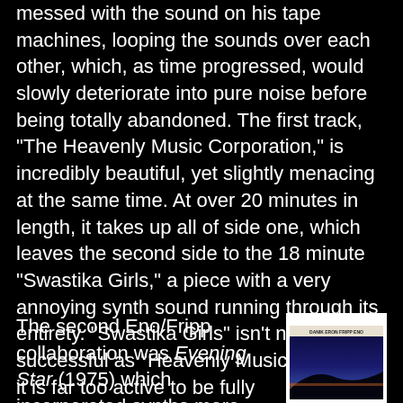messed with the sound on his tape machines, looping the sounds over each other, which, as time progressed, would slowly deteriorate into pure noise before being totally abandoned. The first track, "The Heavenly Music Corporation," is incredibly beautiful, yet slightly menacing at the same time. At over 20 minutes in length, it takes up all of side one, which leaves the second side to the 18 minute "Swastika Girls," a piece with a very annoying synth sound running through its entirety. "Swastika Girls" isn't nearly as successful as "Heavenly Music," because it is far too active to be fully comprehended, leaving it sounding like a mess; but it does add another dimension to the sound of the first song. This album represents Eno's first foray into what he would later term "ambient" music (background music that "doesn't demand attention, but rewards it,"), even if he wasn't aware of it yet.
The second Eno/Fripp collaboration was Evening Star (1975) which incorporated synths more fully into the mix. Even better than (No Pussyfooting), this album contains two absolute
[Figure (photo): Album cover for Evening Star by Eno/Fripp. Shows a landscape photo with dark silhouette of hills against a twilight sky with gradient from deep blue at top to orange/amber near the horizon. White border frame around the image. Text at top reads 'DANIK ERON FRIPP ENO' or similar artist/album name.]